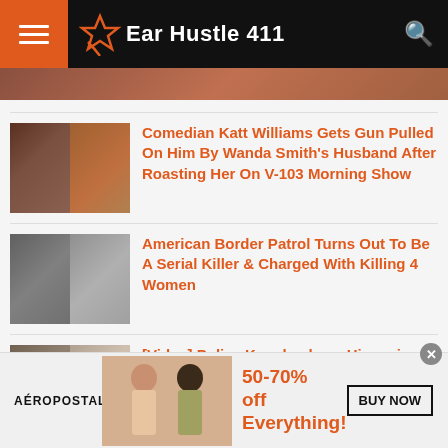Ear Hustle 411
[Figure (photo): Partially visible article thumbnail at top]
Comedian Katt Williams Gets Gun Pulled On Him By Wanda Smith's Husband After Roasting Her On V-103 Morning Show
American Border Patrol Turns Out To Be A Serial Killer & Charged With Killing 4 Women
[Video] Police Knocks down Hispanic Man's Door With No Warrant Points...
[Figure (screenshot): Aeropostale advertisement banner: 50-70% off Everything! BUY NOW]